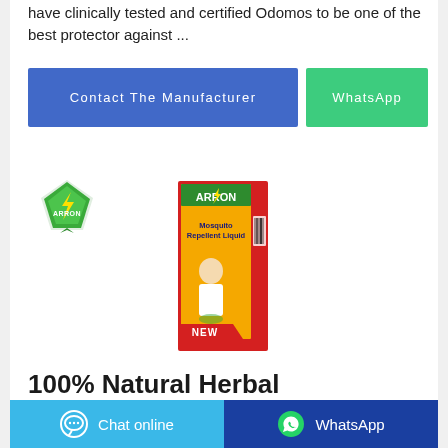have clinically tested and certified Odomos to be one of the best protector against ...
Contact The Manufacturer
WhatsApp
[Figure (photo): Arrow brand logo (green diamond shape with lightning bolt) and a red/orange/yellow product box labeled 'ARROW Mosquito Repellent Liquid' with a baby image and barcode, marked NEW]
100% Natural Herbal
Chat online
WhatsApp